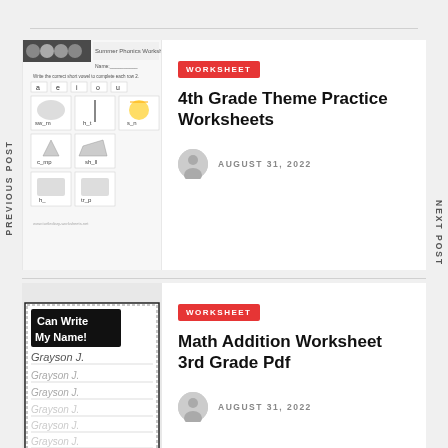PREVIOUS POST
NEXT POST
[Figure (illustration): Thumbnail of Summer Phonics Worksheet showing vowels a e i o u and images for sw_m, h_t, s_n, c_mp, sh_ll, h_, tr_p]
WORKSHEET
4th Grade Theme Practice Worksheets
AUGUST 31, 2022
[Figure (illustration): Thumbnail of Can Write My Name worksheet with Grayson name tracing lines]
WORKSHEET
Math Addition Worksheet 3rd Grade Pdf
AUGUST 31, 2022